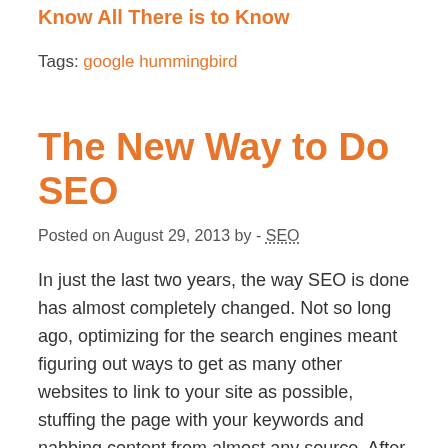Know All There is to Know
Tags: google hummingbird
The New Way to Do SEO
Posted on August 29, 2013 by - SEO
In just the last two years, the way SEO is done has almost completely changed. Not so long ago, optimizing for the search engines meant figuring out ways to get as many other websites to link to your site as possible, stuffing the page with your keywords and nabbing content from almost any source. After two huge updates to the mechanics of how Google ranks your site, called Penguin and Panda respectively, linking schemes, keyword stuffing and simply copying someone else's awesome text are all definite no-